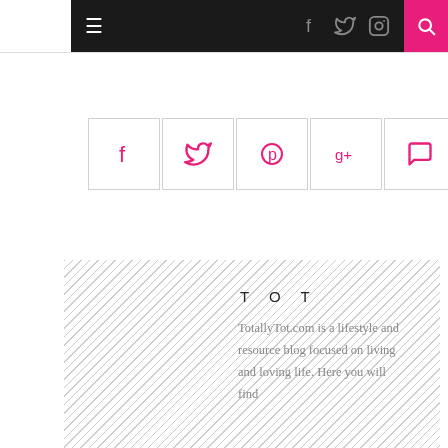≡  f  t  ⊡  🔍
[Figure (infographic): Five social sharing buttons: Facebook (f), Twitter (bird), Pinterest (p), Google+ (g+), Comment (speech bubble) — each in a square outlined box]
[Figure (infographic): Hatched border decorative box containing white inner panel with 'TOT' heading and text: TotallyTot.com is a lifestyle and resource blog focused on living and loving life. Here you will find]
TOT
TotallyTot.com is a lifestyle and resource blog focused on living and loving life. Here you will find